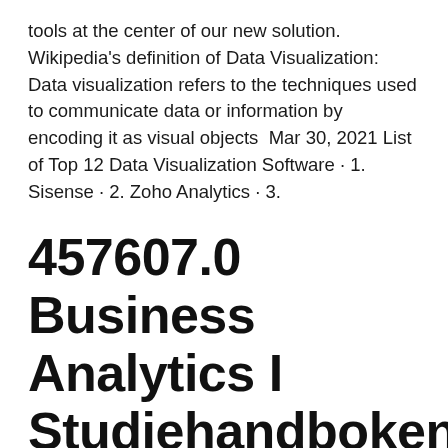tools at the center of our new solution. Wikipedia's definition of Data Visualization: Data visualization refers to the techniques used to communicate data or information by encoding it as visual objects  Mar 30, 2021 List of Top 12 Data Visualization Software · 1. Sisense · 2. Zoho Analytics · 3.
457607.0 Business Analytics I Studiehandboken
The industry has grown exponentially over the last few years. As a result there are more visualization tools available, which have in turn lowered the barrier of entry for creating visualizations.